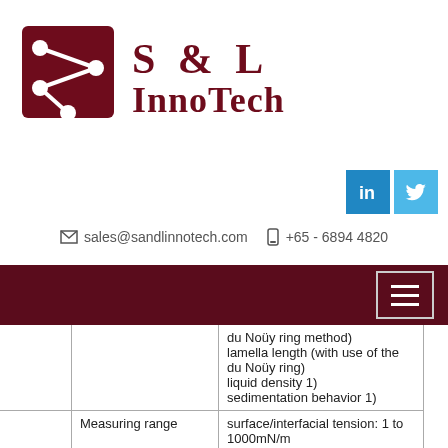[Figure (logo): S & L InnoTech company logo with dark red square icon on the left and company name on the right]
[Figure (logo): LinkedIn and Twitter social media icons]
sales@sandlinnotech.com   +65 - 6894 4820
[Figure (other): Dark red navigation bar with hamburger menu icon (three horizontal lines) in a light-bordered box]
|  | du Noüy ring method)
lamella length (with use of the du Noüy ring)
liquid density 1)
sedimentation behavior 1) |  |
| Measuring range | surface/interfacial tension: 1 to 1000mN/m |  |
| Resolution | 0.01mN/m |  |